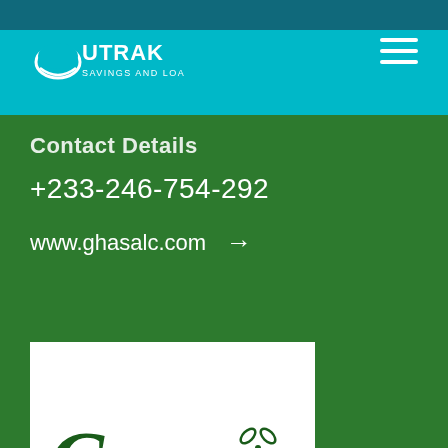UTRAK Savings and Loans Ltd
Contact Details
+233-246-754-292
www.ghasalc.com →
[Figure (logo): GHASALC logo with large stylized G, text GHASALC, and a four-petal flower/propeller icon, in dark green on white background]